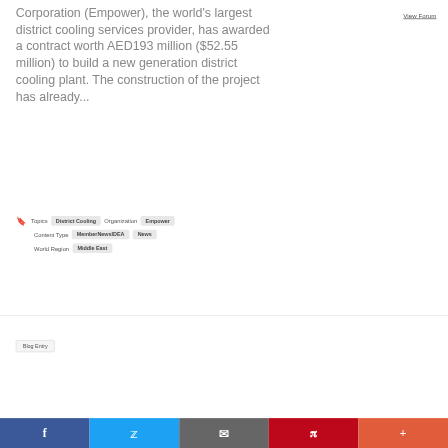Corporation (Empower), the world's largest district cooling services provider, has awarded a contract worth AED193 million ($52.55 million) to build a new generation district cooling plant. The construction of the project has already...
View Forum
Topics   District Cooling   Organization   Empower
Content Type   MemberNewsIDEA   News
World Region   Middle East
Blog Entry